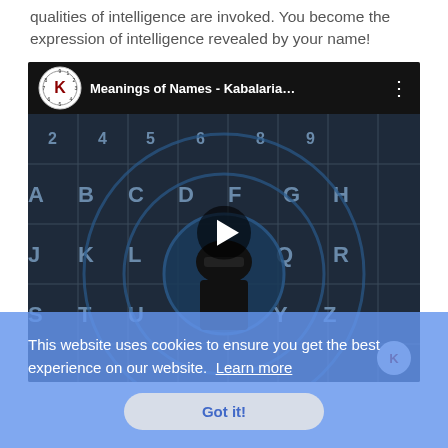qualities of intelligence are invoked. You become the expression of intelligence revealed by your name!
[Figure (screenshot): YouTube video thumbnail for 'Meanings of Names - Kabalaria...' showing a Kabalaria logo and a figure with a numerology wheel background, with a play button overlay.]
This website uses cookies to ensure you get the best experience on our website. Learn more
Got it!